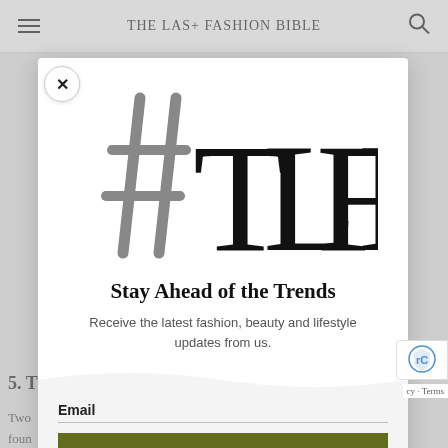THE LAS+ FASHION BIBLE
[Figure (logo): #TLFB hashtag logo mark with large serif letters TLFB]
Stay Ahead of the Trends
Receive the latest fashion, beauty and lifestyle updates from us.
Email
SUBSCRIBE